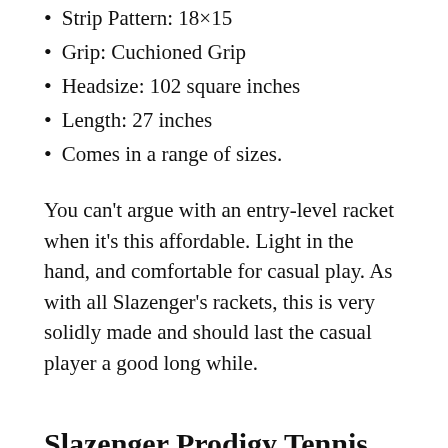Strip Pattern: 18×15
Grip: Cuchioned Grip
Headsize: 102 square inches
Length: 27 inches
Comes in a range of sizes.
You can't argue with an entry-level racket when it's this affordable. Light in the hand, and comfortable for casual play. As with all Slazenger's rackets, this is very solidly made and should last the casual player a good long while.
Slazenger Prodigy Tennis Racket